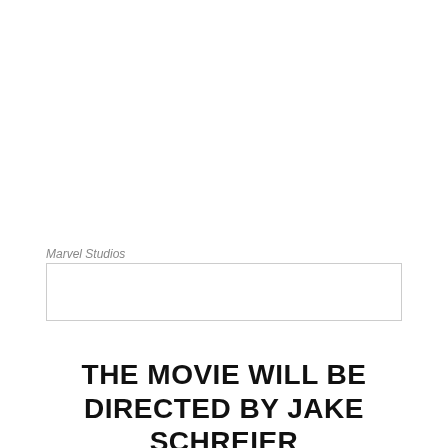Marvel Studios
[Figure (other): Empty bordered rectangle placeholder box]
THE MOVIE WILL BE DIRECTED BY JAKE SCHREIER